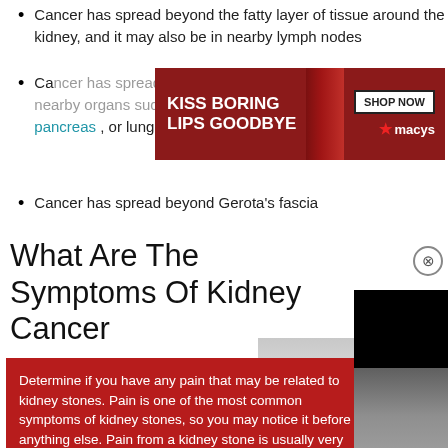Cancer has spread beyond the fatty layer of tissue around the kidney, and it may also be in nearby lymph nodes
[Figure (screenshot): Advertisement banner for Macy's lipstick: 'KISS BORING LIPS GOODBYE' with SHOP NOW button and Macy's logo]
Cancer has spread beyond Gerota's fascia
What Are The Symptoms Of Kidney Cancer
[Figure (screenshot): Black video player popup overlay with CLOSE button]
Determine if you have any pain that may be related to kidney stones. Pain is one of the most common symptoms of kidney stones, so you may notice it before anything else. Pain from a kidney stone is usually very sharp and severe and can even be incapacitating. You might feel pain in different places and at different times depending on...